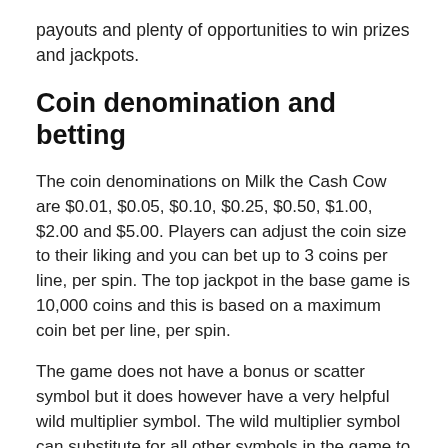payouts and plenty of opportunities to win prizes and jackpots.
Coin denomination and betting
The coin denominations on Milk the Cash Cow are $0.01, $0.05, $0.10, $0.25, $0.50, $1.00, $2.00 and $5.00. Players can adjust the coin size to their liking and you can bet up to 3 coins per line, per spin. The top jackpot in the base game is 10,000 coins and this is based on a maximum coin bet per line, per spin.
The game does not have a bonus or scatter symbol but it does however have a very helpful wild multiplier symbol. The wild multiplier symbol can substitute for all other symbols in the game to help complete winning combinations. The wild symbol will also boost the payouts of any win you get. The more wild symbols you get in a winning combination in Milk the Cash Cow the